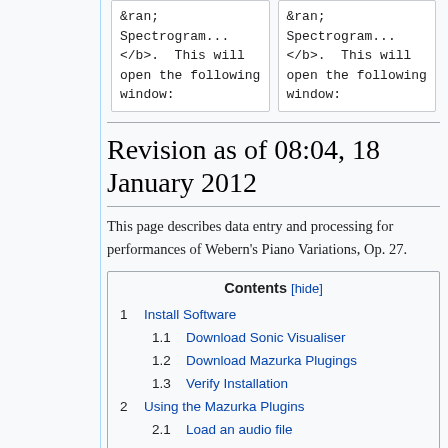| &ran;
Spectrogram...
</b>. This will open the following window: | &ran;
Spectrogram...
</b>. This will open the following window: |
Revision as of 08:04, 18 January 2012
This page describes data entry and processing for performances of Webern's Piano Variations, Op. 27.
Contents [hide]
1 Install Software
1.1 Download Sonic Visualiser
1.2 Download Mazurka Plugings
1.3 Verify Installation
2 Using the Mazurka Plugins
2.1 Load an audio file